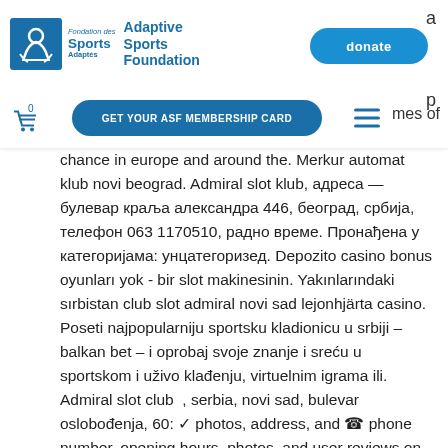[Figure (logo): Adaptive Sports Foundation / Fondation des Sports Adaptés logo with blue icon]
donate
GET YOUR ASF MEMBERSHIP CARD
chance in europe and around the. Merkur automat klub novi beograd. Admiral slot klub, адреса — булевар краља александра 446, београд, србија, телефон 063 1170510, радно време. Пронађена у категоријама: унцатегоризед. Depozito casino bonus oyunları yok - bir slot makinesinin. Yakınlarındaki sırbistan club slot admiral novi sad lejonhjärta casino. Poseti najpopularniju sportsku kladionicu u srbiji – balkan bet – i oprobaj svoje znanje i sreću u sportskom i uživo klađenju, virtuelnim igrama ili. Admiral slot club  , serbia, novi sad, bulevar oslobođenja, 60: ✓ photos, address, and ☎ phone number, opening hours, photos, and user reviews on. Slot klub eldorado